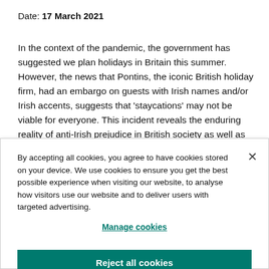Date: 17 March 2021
In the context of the pandemic, the government has suggested we plan holidays in Britain this summer. However, the news that Pontins, the iconic British holiday firm, had an embargo on guests with Irish names and/or Irish accents, suggests that 'staycations' may not be viable for everyone. This incident reveals the enduring reality of anti-Irish prejudice in British society as well as the prevalence of unashamed anti-
By accepting all cookies, you agree to have cookies stored on your device. We use cookies to ensure you get the best possible experience when visiting our website, to analyse how visitors use our website and to deliver users with targeted advertising.
Manage cookies
Reject all cookies